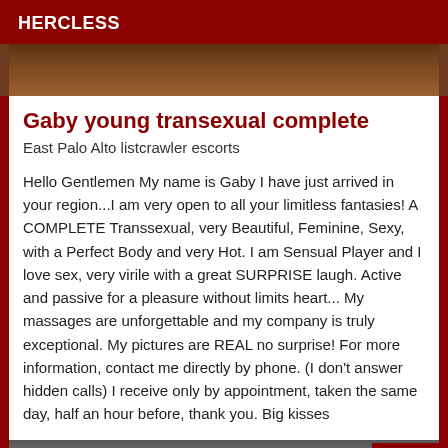HERCLESS
[Figure (photo): Top partial photo strip showing legs/feet on a wooden floor background]
Gaby young transexual complete
East Palo Alto listcrawler escorts
Hello Gentlemen My name is Gaby I have just arrived in your region...I am very open to all your limitless fantasies! A COMPLETE Transsexual, very Beautiful, Feminine, Sexy, with a Perfect Body and very Hot. I am Sensual Player and I love sex, very virile with a great SURPRISE laugh. Active and passive for a pleasure without limits heart... My massages are unforgettable and my company is truly exceptional. My pictures are REAL no surprise! For more information, contact me directly by phone. (I don't answer hidden calls) I receive only by appointment, taken the same day, half an hour before, thank you. Big kisses
[Figure (photo): Bottom partial photo strip with Verified badge in bottom right corner]